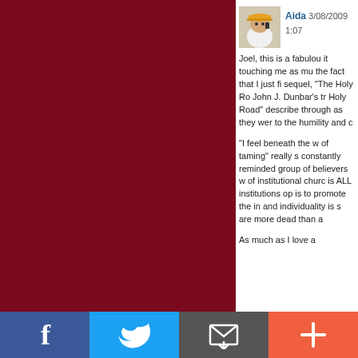[Figure (photo): Dark red/maroon background panel on the left side of the page]
[Figure (photo): Small avatar photo of a person wearing an orange hat, talking on a phone]
Aida 3/08/2009 1:07
Joel, this is a fabulous it touching me as mu the fact that I just fi sequel, "The Holy Ro John J. Dunbar's tr Holy Road" describe through as they wer to the humility and c

"I feel beneath the w of taming" really s constantly reminded group of believers w of institutional churc is ALL institutions op is to promote the in and individuality is s are more dead than a

As much as I love a
[Figure (infographic): Social sharing bottom bar with Facebook (f), Twitter (bird), Email (envelope), and Plus (+) icons]